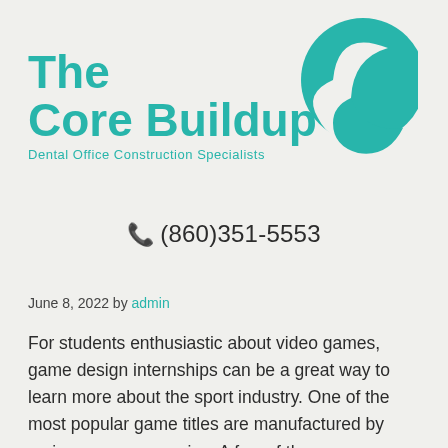[Figure (logo): The Core Buildup logo with teal text reading 'The Core Buildup' and tagline 'Dental Office Construction Specialists', with a teal wave/circle graphic on the right]
📞 (860)351-5553
June 8, 2022 by admin
For students enthusiastic about video games, game design internships can be a great way to learn more about the sport industry. One of the most popular game titles are manufactured by major game companies. A few of the